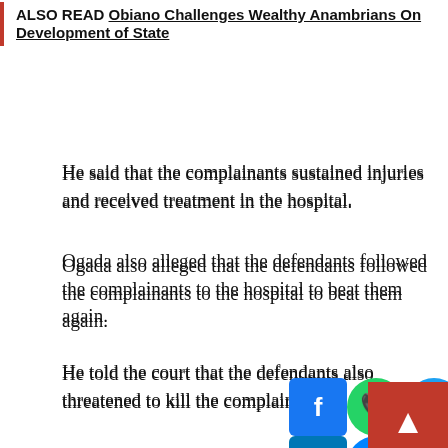ALSO READ Obiano Challenges Wealthy Anambrians On Development of State
He said that the complainants sustained injuries and received treatment in the hospital.
Ogada also alleged that the defendants followed the complainants to the hospital to beat them again.
He told the court that the defendants also threatened to kill the complainants.
The offence, he said, contravened the provisions of sections 97, 397 and 247of the Penal Code.
However, the four, who spoke in Hausa, pleaded not guilty to the charge.
The Judge, Malam Sulyman Ola, admitted the